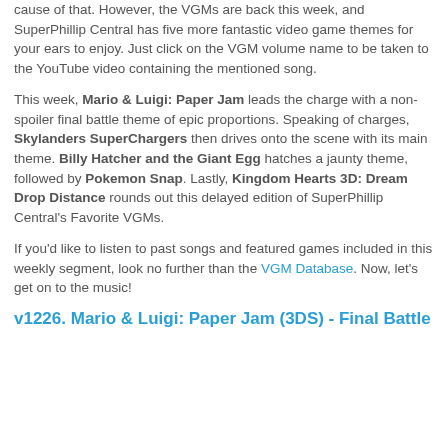cause of that. However, the VGMs are back this week, and SuperPhillip Central has five more fantastic video game themes for your ears to enjoy. Just click on the VGM volume name to be taken to the YouTube video containing the mentioned song.
This week, Mario & Luigi: Paper Jam leads the charge with a non-spoiler final battle theme of epic proportions. Speaking of charges, Skylanders SuperChargers then drives onto the scene with its main theme. Billy Hatcher and the Giant Egg hatches a jaunty theme, followed by Pokemon Snap. Lastly, Kingdom Hearts 3D: Dream Drop Distance rounds out this delayed edition of SuperPhillip Central's Favorite VGMs.
If you'd like to listen to past songs and featured games included in this weekly segment, look no further than the VGM Database. Now, let's get on to the music!
v1226. Mario & Luigi: Paper Jam (3DS) - Final Battle